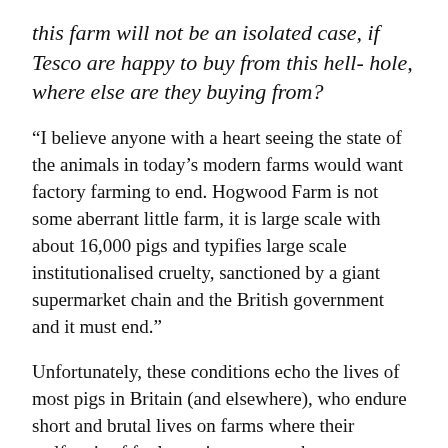this farm will not be an isolated case, if Tesco are happy to buy from this hell- hole, where else are they buying from?
“I believe anyone with a heart seeing the state of the animals in today’s modern farms would want factory farming to end. Hogwood Farm is not some aberrant little farm, it is large scale with about 16,000 pigs and typifies large scale institutionalised cruelty, sanctioned by a giant supermarket chain and the British government and it must end.”
Unfortunately, these conditions echo the lives of most pigs in Britain (and elsewhere), who endure short and brutal lives on farms where their welfare is of far lower importance than production. In light of the shocking investigation at Hogwood, Viva! asks that Tesco takes action